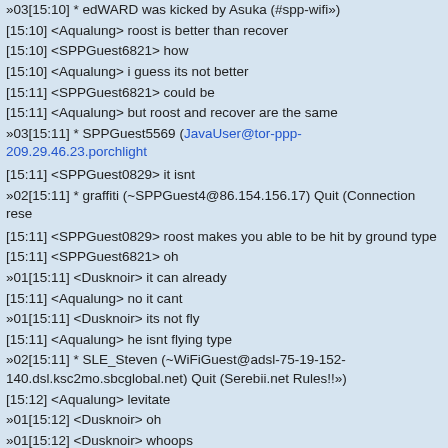»03[15:10] * edWARD was kicked by Asuka (#spp-wifi«)
[15:10] <Aqualung> roost is better than recover
[15:10] <SPPGuest6821> how
[15:10] <Aqualung> i guess its not better
[15:11] <SPPGuest6821> could be
[15:11] <Aqualung> but roost and recover are the same
»03[15:11] * SPPGuest5569 (JavaUser@tor-ppp-209.29.46.23.porchlight joined #SPP
[15:11] <SPPGuest0829> it isnt
»02[15:11] * graffiti (~SPPGuest4@86.154.156.17) Quit (Connection reset by peer«)
[15:11] <SPPGuest0829> roost makes you able to be hit by ground type
[15:11] <SPPGuest6821> oh
»01[15:11] <Dusknoir> it can already
[15:11] <Aqualung> no it cant
»01[15:11] <Dusknoir> its not fly
[15:11] <Aqualung> he isnt flying type
»02[15:11] * SLE_Steven (~WiFiGuest@adsl-75-19-152-140.dsl.ksc2mo.sbcglobal.net) Quit (Serebii.net Rules!!«)
[15:12] <Aqualung> levitate
»01[15:12] <Dusknoir> oh
»01[15:12] <Dusknoir> whoops
[15:12] <SPPGuest6821> not if ur got a ferow
»01[15:12] <Dusknoir> lol
[15:12] <+James> :20.10.59: <SPPGuest0829> roost makes you able to...